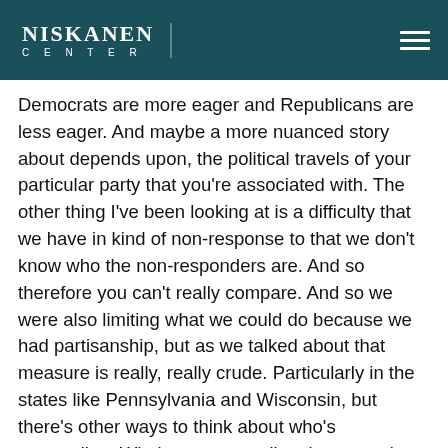NISKANEN CENTER
Democrats are more eager and Republicans are less eager. And maybe a more nuanced story about depends upon, the political travels of your particular party that you're associated with. The other thing I've been looking at is a difficulty that we have in kind of non-response to that we don't know who the non-responders are. And so therefore you can't really compare. And so we were also limiting what we could do because we had partisanship, but as we talked about that measure is really, really crude. Particularly in the states like Pennsylvania and Wisconsin, but there's other ways to think about who's responding. Who's not responding that may give us a little bit of a handle on this.